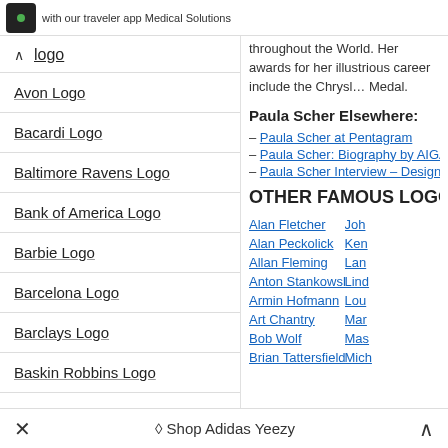with our traveler app Medical Solutions
logo
Avon Logo
Bacardi Logo
Baltimore Ravens Logo
Bank of America Logo
Barbie Logo
Barcelona Logo
Barclays Logo
Baskin Robbins Logo
Batman Logo
Bayern Munich Logo
throughout the World. Her awards for her illustrious career include the Chrysle Medal.
Paula Scher Elsewhere:
– Paula Scher at Pentagram
– Paula Scher: Biography by AIGA
– Paula Scher Interview – Designbo
OTHER FAMOUS LOGO DE
Alan Fletcher
Alan Peckolick
Allan Fleming
Anton Stankowski
Armin Hofmann
Art Chantry
Bob Wolf
Brian Tattersfield
× Shop Adidas Yeezy ^